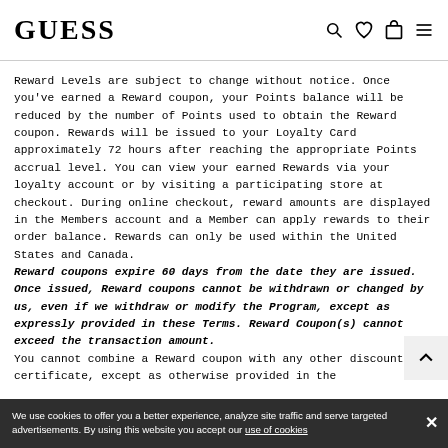GUESS
Reward Levels are subject to change without notice. Once you've earned a Reward coupon, your Points balance will be reduced by the number of Points used to obtain the Reward coupon. Rewards will be issued to your Loyalty Card approximately 72 hours after reaching the appropriate Points accrual level. You can view your earned Rewards via your loyalty account or by visiting a participating store at checkout. During online checkout, reward amounts are displayed in the Members account and a Member can apply rewards to their order balance. Rewards can only be used within the United States and Canada.
Reward coupons expire 60 days from the date they are issued. Once issued, Reward coupons cannot be withdrawn or changed by us, even if we withdraw or modify the Program, except as expressly provided in these Terms. Reward Coupon(s) cannot exceed the transaction amount. You cannot combine a Reward coupon with any other discount or certificate, except as otherwise provided in the
We use cookies to offer you a better experience, analyze site traffic and serve targeted advertisements. By using this website you accept our use of cookies